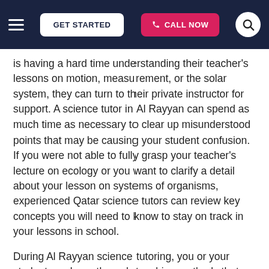GET STARTED | CALL NOW
is having a hard time understanding their teacher's lessons on motion, measurement, or the solar system, they can turn to their private instructor for support. A science tutor in Al Rayyan can spend as much time as necessary to clear up misunderstood points that may be causing your student confusion. If you were not able to fully grasp your teacher's lecture on ecology or you want to clarify a detail about your lesson on systems of organisms, experienced Qatar science tutors can review key concepts you will need to know to stay on track in your lessons in school.
During Al Rayyan science tutoring, you or your student can learn through teaching methods that suit any preferred learning styles. For example, if your student is a visual learner, their Al Rayyan science tutor can include flashcards with illustrations or infographics